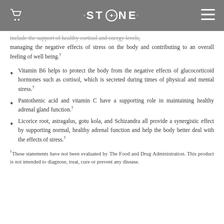STONE NATURALS
include the support of healthy cortisol and energy levels, managing the negative effects of stress on the body and contributing to an overall feeling of well being.†
Vitamin B6 helps to protect the body from the negative effects of glucocorticoid hormones such as cortisol, which is secreted during times of physical and mental stress.†
Pantothenic acid and vitamin C have a supporting role in maintaining healthy adrenal gland function.†
Licorice root, astragalus, gotu kola, and Schizandra all provide a synergistic effect by supporting normal, healthy adrenal function and help the body better deal with the effects of stress.†
†These statements have not been evaluated by The Food and Drug Administration. This product is not intended to diagnose, treat, cure or prevent any disease.